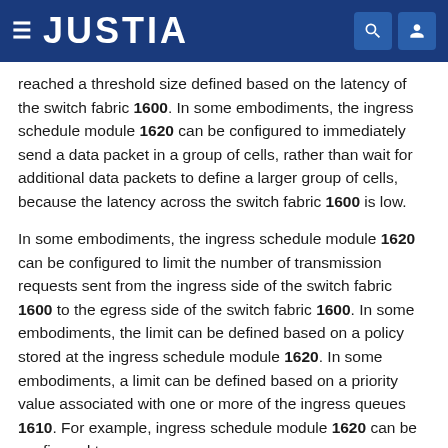JUSTIA
reached a threshold size defined based on the latency of the switch fabric 1600. In some embodiments, the ingress schedule module 1620 can be configured to immediately send a data packet in a group of cells, rather than wait for additional data packets to define a larger group of cells, because the latency across the switch fabric 1600 is low.
In some embodiments, the ingress schedule module 1620 can be configured to limit the number of transmission requests sent from the ingress side of the switch fabric 1600 to the egress side of the switch fabric 1600. In some embodiments, the limit can be defined based on a policy stored at the ingress schedule module 1620. In some embodiments, a limit can be defined based on a priority value associated with one or more of the ingress queues 1610. For example, ingress schedule module 1620 can be configured to...